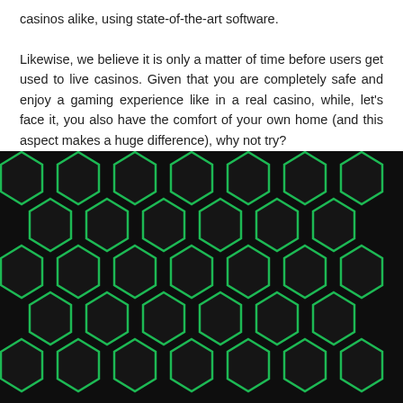casinos alike, using state-of-the-art software.

Likewise, we believe it is only a matter of time before users get used to live casinos. Given that you are completely safe and enjoy a gaming experience like in a real casino, while, let's face it, you also have the comfort of your own home (and this aspect makes a huge difference), why not try?
[Figure (illustration): Dark background hexagonal pattern with green outline casino icons including slot machine 7s, laptop with slots, slot machine reels, dollar bills, playing cards, roulette wheel, chip stacks, and casino machines arranged in a repeating honeycomb grid.]